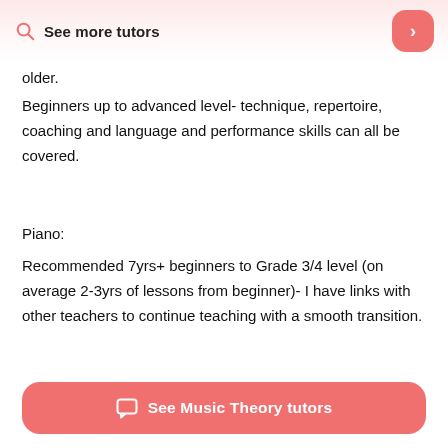See more tutors
older.
Beginners up to advanced level- technique, repertoire, coaching and language and performance skills can all be covered.
Piano:
Recommended 7yrs+ beginners to Grade 3/4 level (on average 2-3yrs of lessons from beginner)- I have links with other teachers to continue teaching with a smooth transition.
See Music Theory tutors